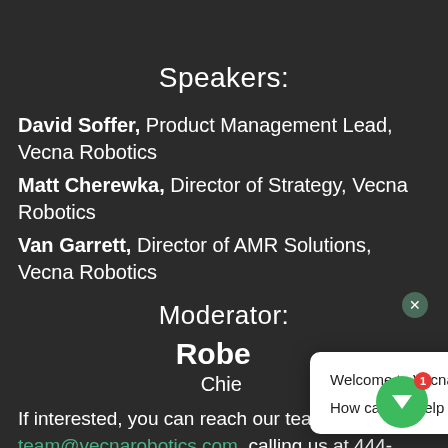Speakers:
David Soffer, Product Management Lead, Vecna Robotics
Matt Cherewka, Director of Strategy, Vecna Robotics
Van Garrett, Director of AMR Solutions, Vecna Robotics
Moderator:
Robe[rt] Chie[f...]
If interested, you can reach our team by emailing team@vecnarobotics.com, calling us at 444-9263 or sending us a message through our
[Figure (screenshot): Chat popup overlay from Vecna Robotics website showing 'Welcome to Vecna Robotics.' and 'How can we help you today?' with a close button (x) and green chat button with red notification badge showing '1']